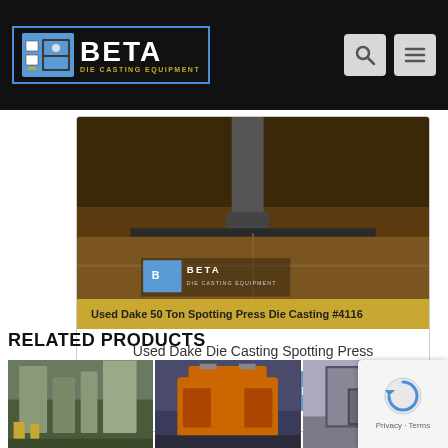[Figure (screenshot): Beta Die Casting Equipment website header with logo and navigation icons]
[Figure (photo): Close-up photo of industrial die casting equipment surface with BETA logo watermark]
Used Dake 50 Ton Spotting Press Die Casting #4116
Used Dake Die Casting Spotting Press
REQUEST QUOTE
RELATED PRODUCTS
[Figure (photo): Related product 1: Industrial facility/equipment photo]
[Figure (photo): Related product 2: Orange industrial machine/press photo]
[Figure (photo): Related product 3: Industrial warehouse/facility photo]